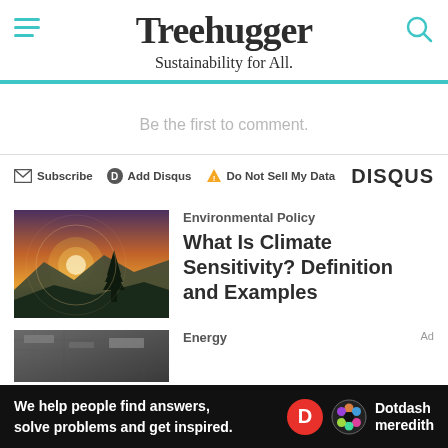Treehugger — Sustainability for All.
Be the first to comment.
Subscribe  Add Disqus  Do Not Sell My Data  DISQUS
[Figure (photo): Sunset landscape with silhouette of a pine tree against orange-pink sky and misty mountains]
Environmental Policy
What Is Climate Sensitivity? Definition and Examples
[Figure (photo): Partial thumbnail of second article, appears to show aerial or outdoor scene]
Energy
[Figure (infographic): Dotdash Meredith ad banner: We help people find answers, solve problems and get inspired.]